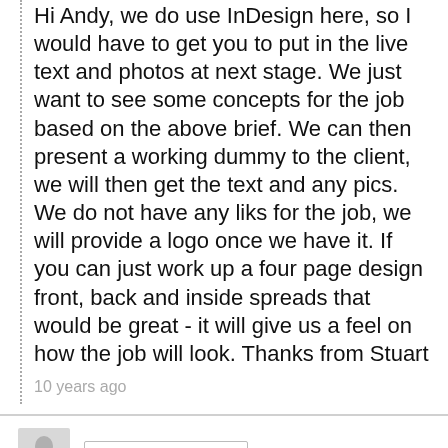Hi Andy, we do use InDesign here, so I would have to get you to put in the live text and photos at next stage. We just want to see some concepts for the job based on the above brief. We can then present a working dummy to the client, we will then get the text and any pics. We do not have any liks for the job, we will provide a logo once we have it. If you can just work up a four page design front, back and inside spreads that would be great - it will give us a feel on how the job will look. Thanks from Stuart
10 years ago
CONTEST HOLDER
Andy, meant to say we do not use indesign here.
10 years ago